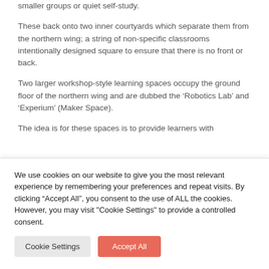smaller groups or quiet self-study.
These back onto two inner courtyards which separate them from the northern wing; a string of non-specific classrooms intentionally designed square to ensure that there is no front or back.
Two larger workshop-style learning spaces occupy the ground floor of the northern wing and are dubbed the ‘Robotics Lab’ and ‘Experium’ (Maker Space).
The idea is for these spaces is to provide learners with
We use cookies on our website to give you the most relevant experience by remembering your preferences and repeat visits. By clicking “Accept All”, you consent to the use of ALL the cookies. However, you may visit "Cookie Settings" to provide a controlled consent.